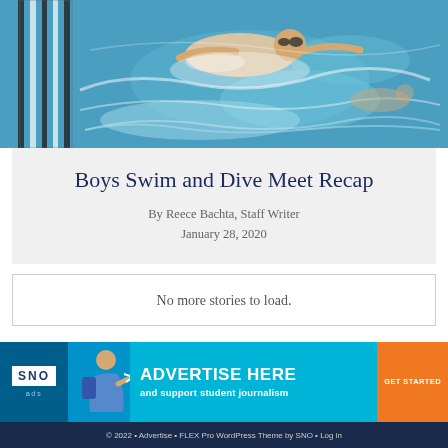[Figure (photo): Overhead view of a swimmer doing butterfly stroke in a pool with lane dividers visible on the left.]
Boys Swim and Dive Meet Recap
By Reece Bachta, Staff Writer
January 28, 2020
No more stories to load.
[Figure (infographic): SNO ads banner: ADVERTISE HERE and support student journalism. GET STARTED button. Features SNO logo and student figure.]
© 2022 • Advertise • FLEX Pro WordPress Theme by SNO • Log in